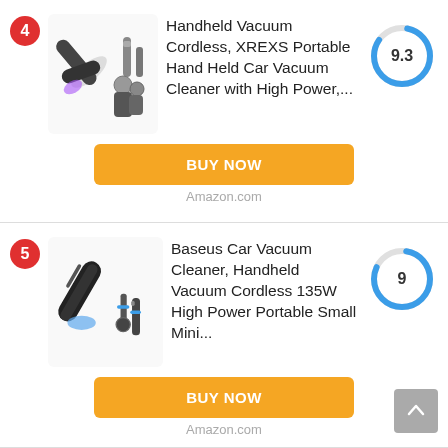[Figure (illustration): Product #4: Handheld cordless vacuum cleaner with accessories]
Handheld Vacuum Cordless, XREXS Portable Hand Held Car Vacuum Cleaner with High Power,...
[Figure (donut-chart): Blue donut ring showing score 9.3]
BUY NOW
Amazon.com
[Figure (illustration): Product #5: Baseus black handheld vacuum cleaner with accessories]
Baseus Car Vacuum Cleaner, Handheld Vacuum Cordless 135W High Power Portable Small Mini...
[Figure (donut-chart): Blue donut ring showing score 9]
BUY NOW
Amazon.com